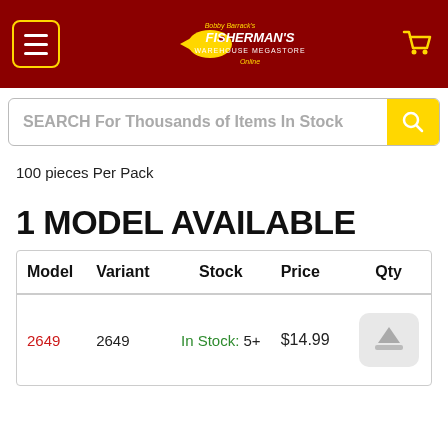Bobby Barrack's Fisherman's Warehouse Megastore Online
SEARCH For Thousands of Items In Stock
100 pieces Per Pack
1 MODEL AVAILABLE
| Model | Variant | Stock | Price | Qty |
| --- | --- | --- | --- | --- |
| 2649 | 2649 | In Stock: 5+ | $14.99 |  |